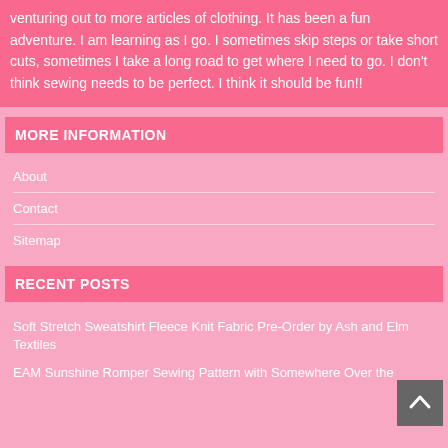venturing out to more articles of clothing.  It has been a fun adventure. I am learning as I go.  I sometimes skip steps or take short cuts, sometimes I take a long road to get where I need to go.  I don't think sewing needs to be perfect. I think it should be fun!!
MORE INFORMATION
About
Contact
Sitemap
RECENT POSTS
Soft Stretch Sweatshirt Fleece Knit Fabric Pre-Order by Ash and Elm Textiles
EAM Sunshine Romper Sewing Pattern with Somewhere Over the